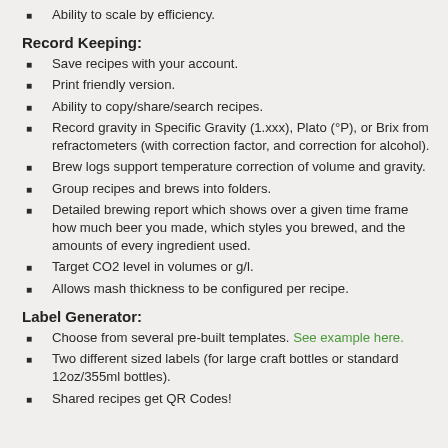Ability to scale by efficiency.
Record Keeping:
Save recipes with your account.
Print friendly version.
Ability to copy/share/search recipes.
Record gravity in Specific Gravity (1.xxx), Plato (°P), or Brix from refractometers (with correction factor, and correction for alcohol).
Brew logs support temperature correction of volume and gravity.
Group recipes and brews into folders.
Detailed brewing report which shows over a given time frame how much beer you made, which styles you brewed, and the amounts of every ingredient used.
Target CO2 level in volumes or g/l.
Allows mash thickness to be configured per recipe.
Label Generator:
Choose from several pre-built templates. See example here.
Two different sized labels (for large craft bottles or standard 12oz/355ml bottles).
Shared recipes get QR Codes!